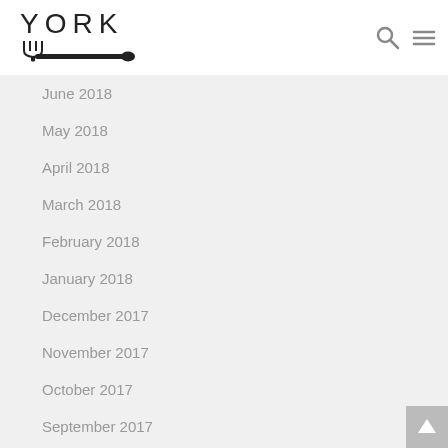YORK
June 2018
May 2018
April 2018
March 2018
February 2018
January 2018
December 2017
November 2017
October 2017
September 2017
August 2017
July 2017